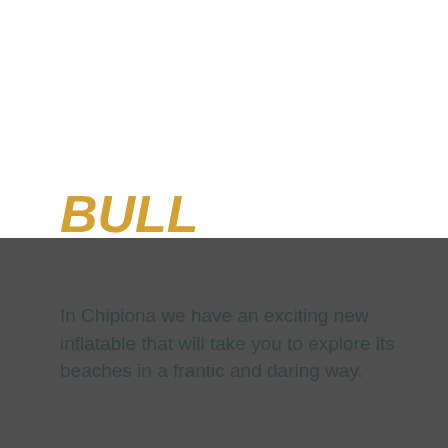BULL
In Chipiona we have an exciting new inflatable that will take you to explore its beaches in a frantic and daring way.
We take you for a ride in our water bull on an 18-minute tour. From the Port of Chipiona in a boat equipped for the activity. In the open sea, an instructor will explain to you what the activity consists of, how to use your helmet and will equip all participants. Once on board, you will sit down from the inflatable and the boat starts to pull
This site uses cookies. By continuing to browse the site, you are agreeing to our use of cookies.
Accept settings
Know more